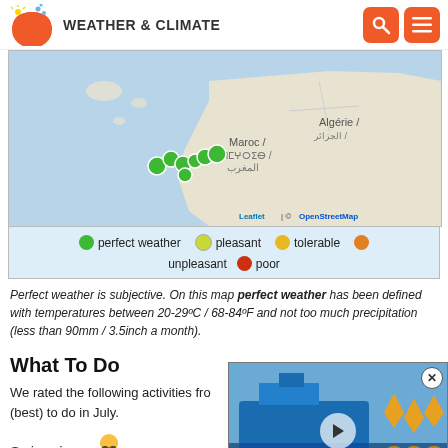WEATHER & CLIMATE
[Figure (map): Map showing Morocco and Algeria coastline with green dots indicating perfect weather locations along the Canary Islands / Atlantic Morocco coast. Includes Leaflet / OpenStreetMap attribution.]
perfect weather  pleasant  tolerable  unpleasant  poor
Perfect weather is subjective. On this map perfect weather has been defined with temperatures between 20-29ºC / 68-84ºF and not too much precipitation (less than 90mm / 3.5inch a month).
What To Do
We rated the following activities from... (best) to do in July.
Swimming
[Figure (photo): Video thumbnail showing a blue research vessel with orange sail-like buoys in the water. Has a circular close button and play button overlay.]